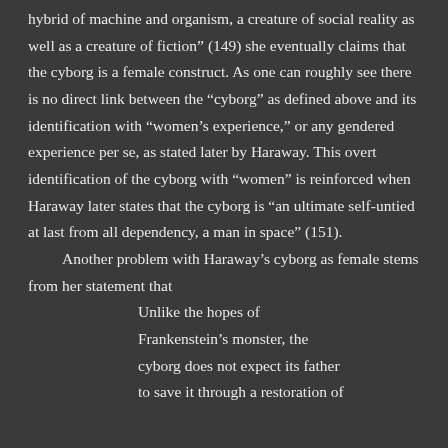hybrid of machine and organism, a creature of social reality as well as a creature of fiction” (149) she eventually claims that the cyborg is a female construct. As one can roughly see there is no direct link between the “cyborg” as defined above and its identification with “women’s experience,” or any gendered experience per se, as stated later by Haraway. This overt identification of the cyborg with “women” is reinforced when Haraway later states that the cyborg is “an ultimate self-untied at last from all dependency, a man in space” (151).
	Another problem with Haraway’s cyborg as female stems from her statement that
Unlike the hopes of Frankenstein’s monster, the cyborg does not expect its father to save it through a restoration of